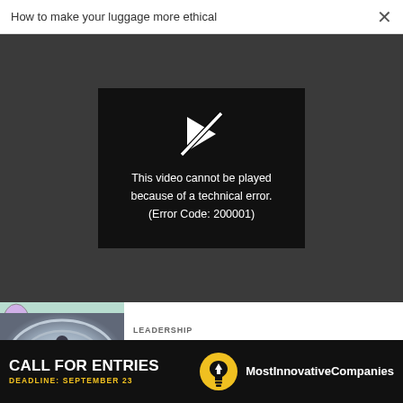How to make your luggage more ethical  ×
[Figure (screenshot): Video player showing error: 'This video cannot be played because of a technical error. (Error Code: 200001)' with a crossed-out play icon on black background, set against a dark gray video area background.]
This video cannot be played because of a technical error. (Error Code: 200001)
Neurodiversity is critical for innovation in the workplace
LEADERSHIP
How I Got My Dream Job Of Getting Paid To Watch Netflix
[Figure (infographic): Advertisement banner: CALL FOR ENTRIES, DEADLINE: SEPTEMBER 23, Most Innovative Companies, with lightbulb icon]